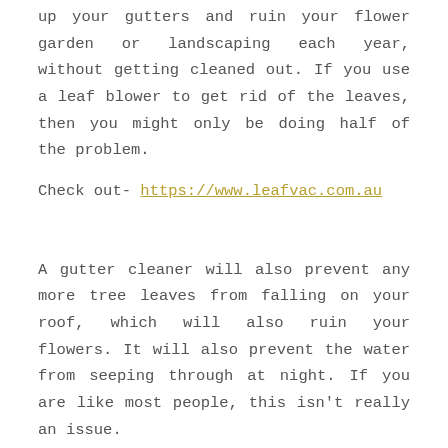up your gutters and ruin your flower garden or landscaping each year, without getting cleaned out. If you use a leaf blower to get rid of the leaves, then you might only be doing half of the problem.
Check out- https://www.leafvac.com.au
A gutter cleaner will also prevent any more tree leaves from falling on your roof, which will also ruin your flowers. It will also prevent the water from seeping through at night. If you are like most people, this isn't really an issue.